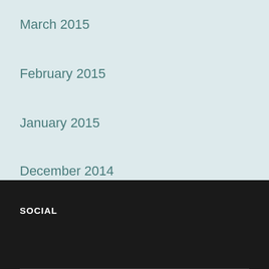March 2015
February 2015
January 2015
December 2014
SOCIAL